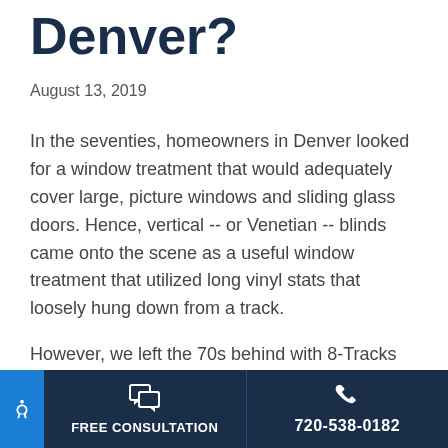Denver?
August 13, 2019
In the seventies, homeowners in Denver looked for a window treatment that would adequately cover large, picture windows and sliding glass doors. Hence, vertical -- or Venetian -- blinds came onto the scene as a useful window treatment that utilized long vinyl stats that loosely hung down from a track.
However, we left the 70s behind with 8-Tracks and
FREE CONSULTATION | 720-538-0182